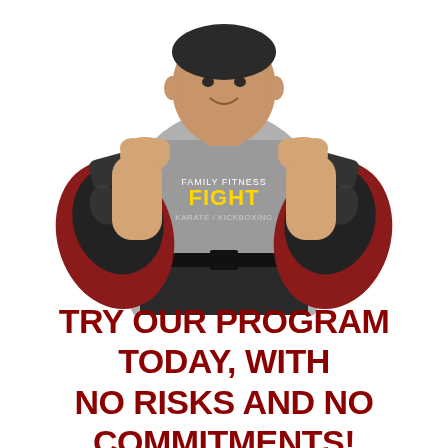[Figure (photo): A martial arts instructor wearing a gray 'Family Fitness FIGHT Karate/Kickboxing' shirt and black pants with a black belt, holding two large red and black focus mitts/kicking pads outward toward the viewer. He is smiling against a white background.]
TRY OUR PROGRAM TODAY, WITH NO RISKS AND NO COMMITMENTS!